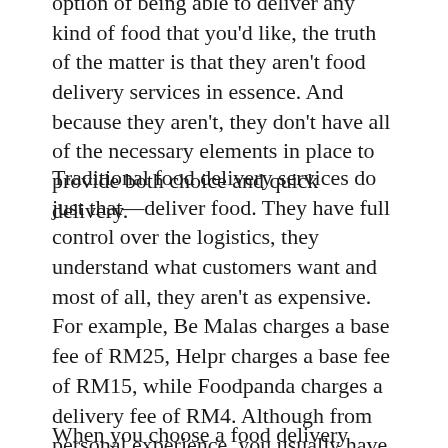option of being able to deliver any kind of food that you'd like, the truth of the matter is that they aren't food delivery services in essence. And because they aren't, they don't have all of the necessary elements in place to provide both choice and quick delivery.
Traditional food delivery services do just that—deliver food. They have full control over the logistics, they understand what customers want and most of all, they aren't as expensive. For example, Be Malas charges a base fee of RM25, Helpr charges a base fee of RM15, while Foodpanda charges a delivery fee of RM4. Although from personal experience, you usually have to order something that costs more than RM15; but it's still a better option in my opinion when it comes to having a meal delivered to your house.
When you choose a food delivery service, you choose a